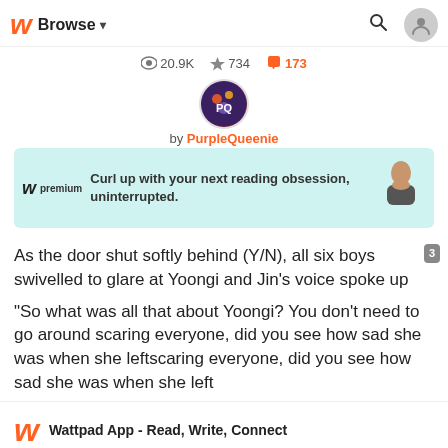Browse ▾
👁 20.9K  ★ 734  💬 173
[Figure (photo): Circular avatar photo of author PurpleQueenie]
by PurpleQueenie
[Figure (infographic): Wattpad premium ad banner: 'Curl up with your next reading obsession, uninterrupted.' with logo and person image on light teal background]
As the door shut softly behind (Y/N), all six boys swivelled to glare at Yoongi and Jin's voice spoke up
"So what was all that about Yoongi? You don't need to go around scaring everyone, did you see how sad she was when she left
Wattpad App - Read, Write, Connect
Start Reading
Log in with Browser